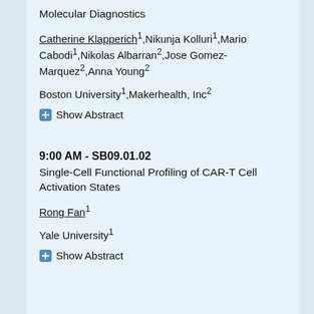Molecular Diagnostics
Catherine Klapperich¹,Nikunja Kolluri¹,Mario Cabodi¹,Nikolas Albarran²,Jose Gomez-Marquez²,Anna Young²
Boston University¹,Makerhealth, Inc²
⊞ Show Abstract
9:00 AM - SB09.01.02
Single-Cell Functional Profiling of CAR-T Cell Activation States
Rong Fan¹
Yale University¹
⊞ Show Abstract